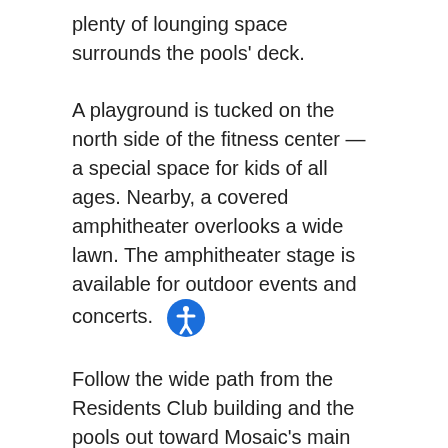plenty of lounging space surrounds the pools' deck.
A playground is tucked on the north side of the fitness center — a special space for kids of all ages. Nearby, a covered amphitheater overlooks a wide lawn. The amphitheater stage is available for outdoor events and concerts.
Follow the wide path from the Residents Club building and the pools out toward Mosaic's main lake. A boardwalk at the lake's edge provides the perfect place for fishing or just enjoying the view.
But here's what's sure to become a community